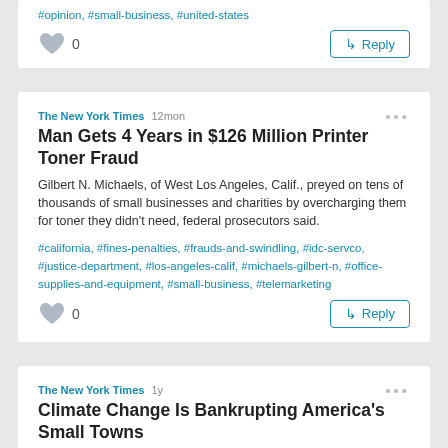#opinion, #small-business, #united-states
0  Reply
The New York Times 12mon
Man Gets 4 Years in $126 Million Printer Toner Fraud
Gilbert N. Michaels, of West Los Angeles, Calif., preyed on tens of thousands of small businesses and charities by overcharging them for toner they didn't need, federal prosecutors said.
#california, #fines-penalties, #frauds-and-swindling, #idc-servco, #justice-department, #los-angeles-calif, #michaels-gilbert-n, #office-supplies-and-equipment, #small-business, #telemarketing
0  Reply
The New York Times 1y
Climate Change Is Bankrupting America's Small Towns
Repeated shocks from hurricanes, fires and floods are pushing some rural communities, already struggling economically, to the brink of financial collapse.
#area-planning-and-renewal, #army-corps-of-engineers, #buildings-structures, #disasters-and-emergencies, #fair-bluff-nc, #federal-emergency-